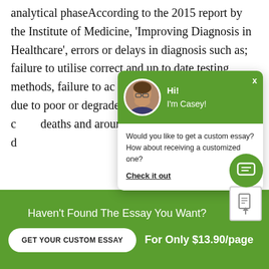analytical phaseAccording to the 2015 report by the Institute of Medicine, 'Improving Diagnosis in Healthcare', errors or delays in diagnosis such as; failure to utilise correct and up to date testing methods, failure to act [upon results], failure to interpret results [correctly], due to poor or degraded [samples leading to] inconclusive results, cause [a number of] deaths and around 17% [of patients, and] patients experience du[e to misdiagnosis]
[Figure (other): Chat popup overlay with green header showing avatar of a man with glasses and text 'Hi! I'm Casey!', body shows 'Would you like to get a custom essay? How about receiving a customized one?' with a 'Check it out' link.]
These figures vary geographically and by me[dical specialty]
Haven't Found The Essay You Want?
GET YOUR CUSTOM ESSAY
For Only $13.90/page